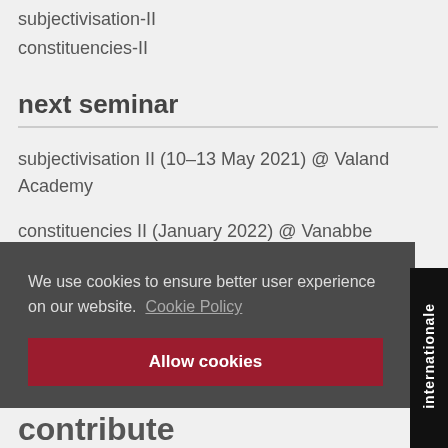subjectivisation-II
constituencies-II
next seminar
subjectivisation II (10–13 May 2021) @ Valand Academy
constituencies II (January 2022) @ Vanabbe
We use cookies to ensure better user experience on our website.  Cookie Policy
Allow cookies
internationale
contribute